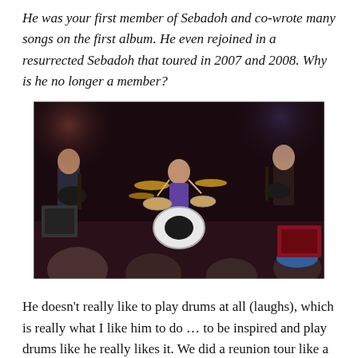He was your first member of Sebadoh and co-wrote many songs on the first album. He even rejoined in a resurrected Sebadoh that toured in 2007 and 2008. Why is he no longer a member?
[Figure (photo): A band performing on stage with three musicians: a guitarist on the left, a drummer in the center, and a guitarist on the right. An audience is visible in the foreground.]
He doesn't really like to play drums at all (laughs), which is really what I like him to do … to be inspired and play drums like he really likes it. We did a reunion tour like a